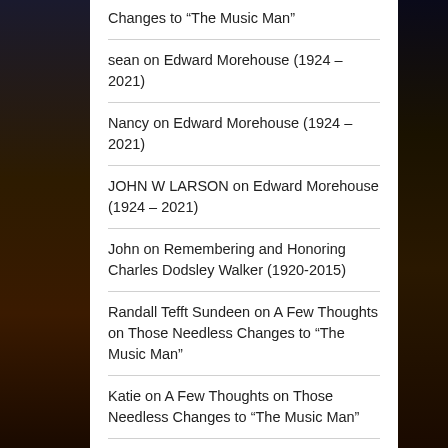Changes to “The Music Man”
sean on Edward Morehouse (1924 – 2021)
Nancy on Edward Morehouse (1924 – 2021)
JOHN W LARSON on Edward Morehouse (1924 – 2021)
John on Remembering and Honoring Charles Dodsley Walker (1920-2015)
Randall Tefft Sundeen on A Few Thoughts on Those Needless Changes to “The Music Man”
Katie on A Few Thoughts on Those Needless Changes to “The Music Man”